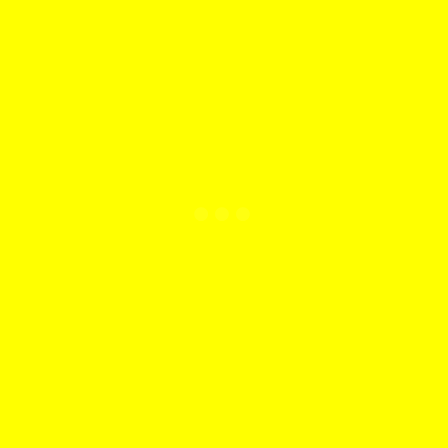[Figure (other): Solid bright yellow background with a very faint, nearly invisible watermark or logo in the center-right area, barely distinguishable from the yellow background.]